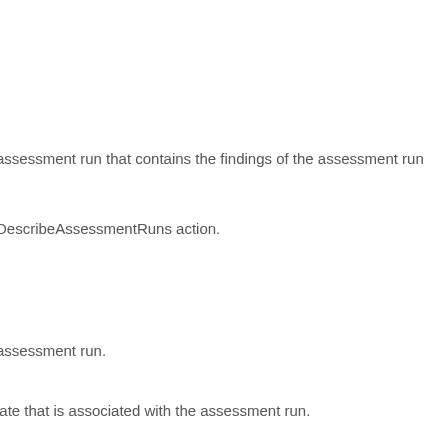assessment run that contains the findings of the assessment run
DescribeAssessmentRuns action.
assessment run.
late that is associated with the assessment run.